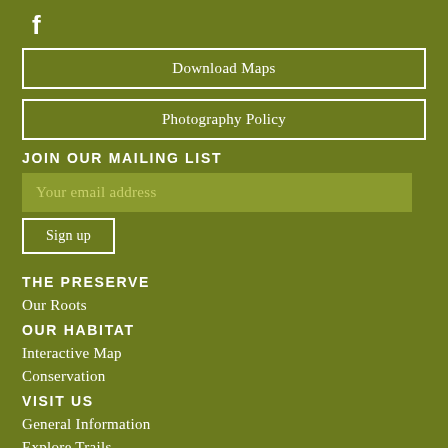[Figure (logo): Facebook logo icon (white 'f' on olive green background)]
Download Maps
Photography Policy
JOIN OUR MAILING LIST
Your email address
Sign up
THE PRESERVE
Our Roots
OUR HABITAT
Interactive Map
Conservation
VISIT US
General Information
Explore Trails
Events